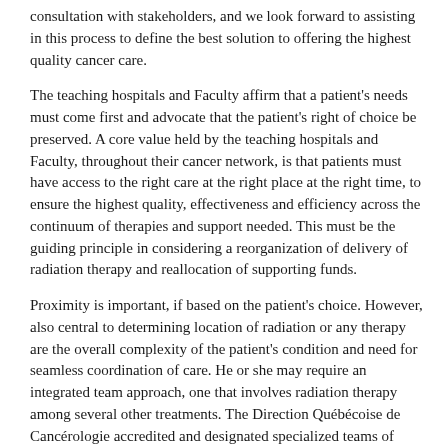consultation with stakeholders, and we look forward to assisting in this process to define the best solution to offering the highest quality cancer care.
The teaching hospitals and Faculty affirm that a patient's needs must come first and advocate that the patient's right of choice be preserved. A core value held by the teaching hospitals and Faculty, throughout their cancer network, is that patients must have access to the right care at the right place at the right time, to ensure the highest quality, effectiveness and efficiency across the continuum of therapies and support needed. This must be the guiding principle in considering a reorganization of delivery of radiation therapy and reallocation of supporting funds.
Proximity is important, if based on the patient's choice. However, also central to determining location of radiation or any therapy are the overall complexity of the patient's condition and need for seamless coordination of care. He or she may require an integrated team approach, one that involves radiation therapy among several other treatments. The Direction Québécoise de Cancérologie accredited and designated specialized teams of cancer clinicians in Quebec, the majority of which are now located in the province's teaching hospitals, where care, research and training of future health professionals is concentrated in networks. Effectively supporting a patient throughout